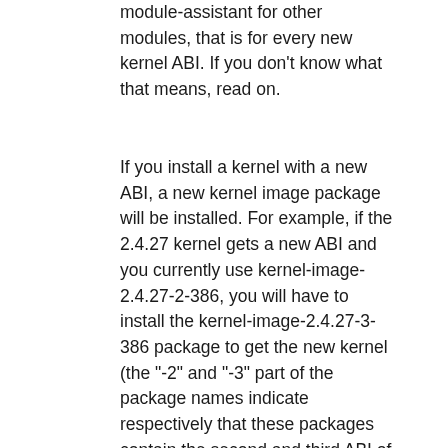module-assistant for other modules, that is for every new kernel ABI. If you don't know what that means, read on.
If you install a kernel with a new ABI, a new kernel image package will be installed. For example, if the 2.4.27 kernel gets a new ABI and you currently use kernel-image-2.4.27-2-386, you will have to install the kernel-image-2.4.27-3-386 package to get the new kernel (the "-2" and "-3" part of the package names indicate respectively that these packages contain the second and third ABI of Debian's 2.4.27 i386 stock kernels). This may happen without your intervention when upgrading your system if the kernel-image-2.4-386 meta package is installed. This can also happen if you install a different kernel. For example, you can have both 2.4.27 and 2.6.8 in Sarge. If you did step 1 for 2.4.27 only, you'll need to do it for 2.6.8 too. You'll notice that a new kernel is installed when a new